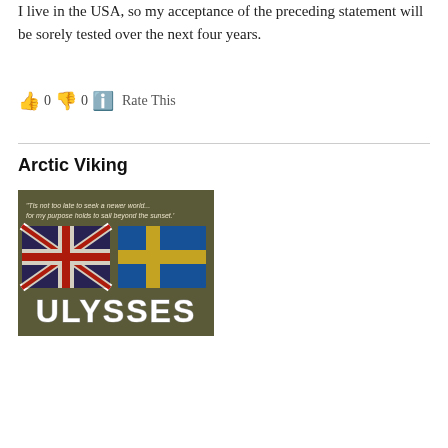I live in the USA, so my acceptance of the preceding statement will be sorely tested over the next four years.
👍 0 👎 0 ℹ Rate This
Arctic Viking
[Figure (illustration): Image with UK and Swedish flags side by side with text 'Tis not too late to seek a newer world... for my purpose holds to sail beyond the sunset.' and large text 'ULYSSES' at the bottom on an olive/dark background.]